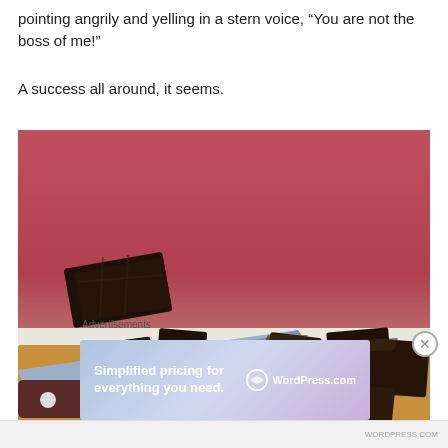pointing angrily and yelling in a stern voice, “You are not the boss of me!”
A success all around, it seems.
[Figure (photo): Chopped dark chocolate pieces on a wooden cutting board with a knife, red background]
Advertisements
[Figure (other): WordPress.com advertisement: Simplified pricing for everything you need.]